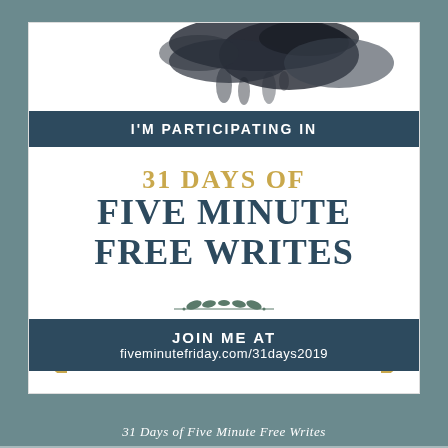[Figure (illustration): Promotional badge/graphic for '31 Days of Five Minute Free Writes'. White card on teal/slate background with dark navy banners, gold accent arrows, watercolor ink splash decorations at top and bottom, decorative leaf branch element, and italic caption below.]
I'M PARTICIPATING IN
31 DAYS OF
FIVE MINUTE FREE WRITES
JOIN ME AT fiveminutefriday.com/31days2019
31 Days of Five Minute Free Writes